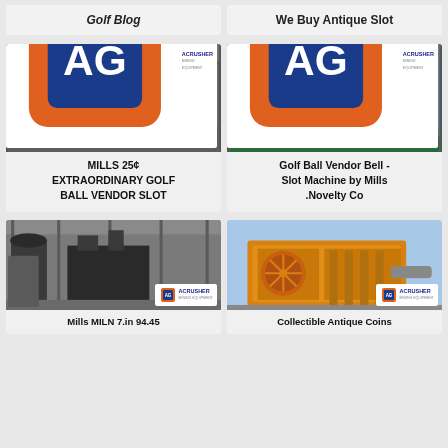Golf Blog
We Buy Antique Slot
[Figure (photo): Industrial building interior with steel structure and conveyor equipment, ACRUSHER Mining Equipment logo in corner]
MILLS 25¢ EXTRAORDINARY GOLF BALL VENDOR SLOT
[Figure (photo): Large industrial grinding machine in factory setting with LIVE CHAT bubble overlay, ACRUSHER Mining Equipment logo in corner]
Golf Ball Vendor Bell - Slot Machine by Mills .Novelty Co
[Figure (photo): Industrial factory interior with large dust collector/cyclone equipment, ACRUSHER Mining Equipment logo]
[Figure (photo): Yellow/orange heavy jaw crusher machine outdoors, ACRUSHER Mining Equipment logo]
Mills MILN 7.in 94.45
Collectible Antique Coins